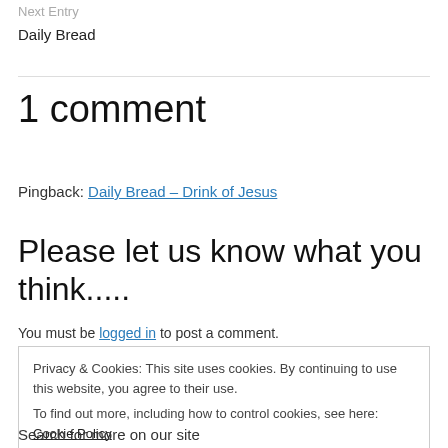Next Entry
Daily Bread
1 comment
Pingback: Daily Bread – Drink of Jesus
Please let us know what you think.....
You must be logged in to post a comment.
Privacy & Cookies: This site uses cookies. By continuing to use this website, you agree to their use.
To find out more, including how to control cookies, see here: Cookie Policy
Close and accept
Search for more on our site